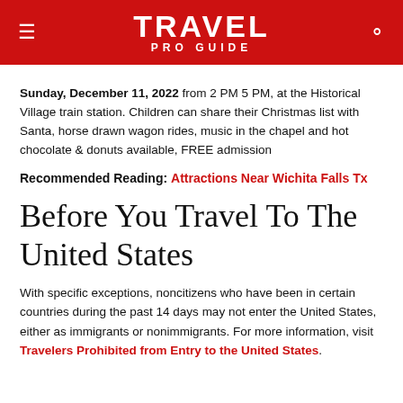TRAVEL PRO GUIDE
Sunday, December 11, 2022 from 2 PM 5 PM, at the Historical Village train station. Children can share their Christmas list with Santa, horse drawn wagon rides, music in the chapel and hot chocolate & donuts available, FREE admission
Recommended Reading: Attractions Near Wichita Falls Tx
Before You Travel To The United States
With specific exceptions, noncitizens who have been in certain countries during the past 14 days may not enter the United States, either as immigrants or nonimmigrants. For more information, visit Travelers Prohibited from Entry to the United States.